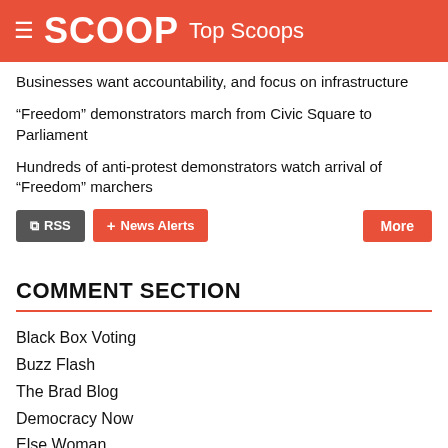SCOOP Top Scoops
Businesses want accountability, and focus on infrastructure
“Freedom” demonstrators march from Civic Square to Parliament
Hundreds of anti-protest demonstrators watch arrival of “Freedom” marchers
COMMENT SECTION
Black Box Voting
Buzz Flash
The Brad Blog
Democracy Now
Else Woman
Greg Palast
Progressive Review
Ramzy Baroud